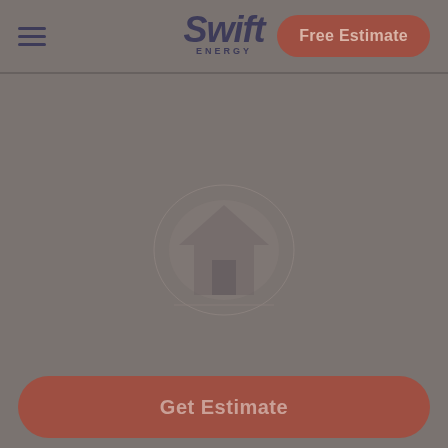Swift Energy — Free Estimate navigation header
← Back to product list
[Figure (screenshot): Loading/placeholder state of a product detail page with a faint icon in the center, overlaid on a gray background]
Get Estimate